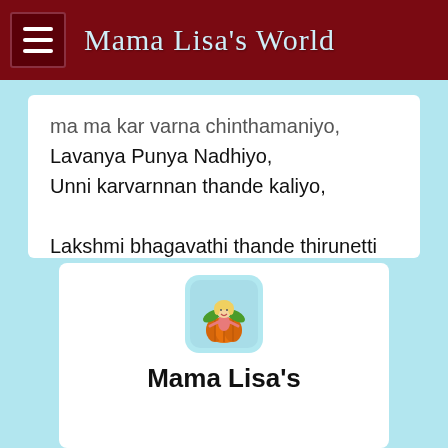Mama Lisa's World
ma ma kar varna chinthamaniyo,
Lavanya Punya Nadhiyo,
Unni karvarnnan thande kaliyo,

Lakshmi bhagavathi thande thirunetti melitta kuriyo,
Ennunnikrishnan Janicho, Parilingane Vesham Dharicho,

Padmanabhan Than Kripayo, Muttum bhagyam varunna vazhiyo.
[Figure (logo): Mama Lisa's World logo showing a girl figure sitting on an orange pumpkin with green leaves, on a light blue rounded square background]
Mama Lisa's